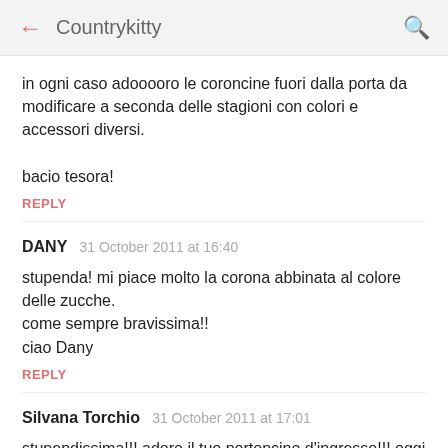← Countrykitty 🔍
in ogni caso adooooro le coroncine fuori dalla porta da modificare a seconda delle stagioni con colori e accessori diversi.

bacio tesora!
REPLY
DANY  31 October 2011 at 16:40
stupenda! mi piace molto la corona abbinata al colore delle zucche.
come sempre bravissima!!
ciao Dany
REPLY
Silvana Torchio  31 October 2011 at 17:01
stupendissima!!! adoro il tuo portoncino d'ingresso!!! oggi mentre ero a spasso con la Giuly ho potuto anch'io come nel giro di pochi